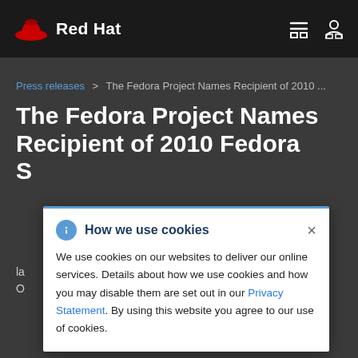[Figure (logo): Red Hat logo with red fedora hat icon and white bold text 'Red Hat' on black navigation bar]
Red Hat navigation bar with menu and user icons
Press releases > The Fedora Project Names Recipient of 2010 ...
The Fedora Project Names Recipient of 2010 Fedora S...
la... Fedora and O...
How we use cookies — We use cookies on our websites to deliver our online services. Details about how we use cookies and how you may disable them are set out in our Privacy Statement. By using this website you agree to our use of cookies.